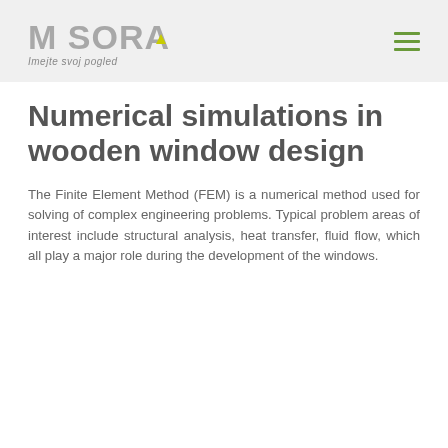[Figure (logo): M SORA company logo with tagline 'Imejte svoj pogled' and hamburger menu icon on grey background header]
Numerical simulations in wooden window design
The Finite Element Method (FEM) is a numerical method used for solving of complex engineering problems. Typical problem areas of interest include structural analysis, heat transfer, fluid flow, which all play a major role during the development of the windows.